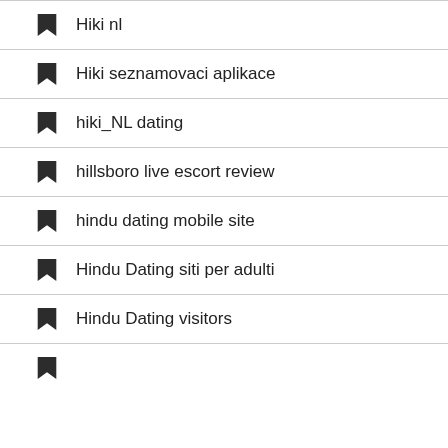Hiki nl
Hiki seznamovaci aplikace
hiki_NL dating
hillsboro live escort review
hindu dating mobile site
Hindu Dating siti per adulti
Hindu Dating visitors